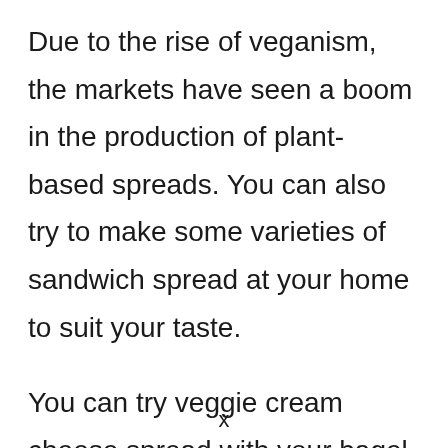Due to the rise of veganism, the markets have seen a boom in the production of plant-based spreads. You can also try to make some varieties of sandwich spread at your home to suit your taste.
You can try veggie cream cheese spread with your bagel. It is full of vegetables, green onion, garlic and herbs like dill.
You can also try the same with a turkey
x